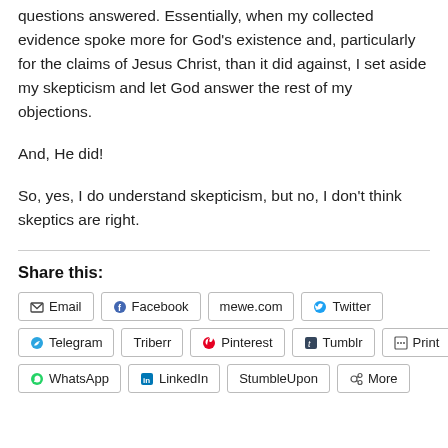questions answered. Essentially, when my collected evidence spoke more for God's existence and, particularly for the claims of Jesus Christ, than it did against, I set aside my skepticism and let God answer the rest of my objections.
And, He did!
So, yes, I do understand skepticism, but no, I don't think skeptics are right.
Share this:
Email | Facebook | mewe.com | Twitter | Telegram | Triberr | Pinterest | Tumblr | Print | WhatsApp | LinkedIn | StumbleUpon | More